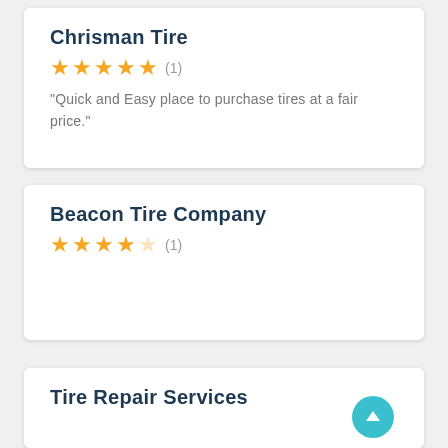Chrisman Tire
★★★★★ (1)
“Quick and Easy place to purchase tires at a fair price.”
Beacon Tire Company
★★★★☆ (1)
Tire Repair Services